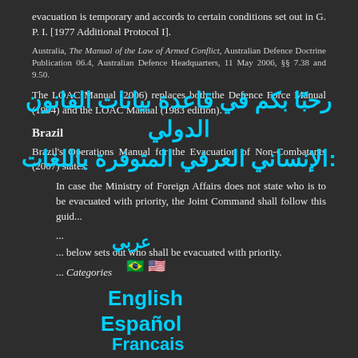evacuation is temporary and accords to certain conditions set out in G. P. I. [1977 Additional Protocol I].
Australia, The Manual of the Law of Armed Conflict, Australian Defence Doctrine Publication 06.4, Australian Defence Headquarters, 11 May 2006, §§ 7.38 and 9.50.
The LOAC Manual (2006) replaces both the Defence Force Manual (1994) and the LOAC Manual (1983 edition).
Brazil
Brazil's Operations Manual for the Evacuation of Non-Combatants (2007) states:
In case the Ministry of Foreign Affairs does not state who is to be evacuated with priority, the Joint Command shall follow this guid...
...
... below sets out who shall be evacuated with priority.
... Categories